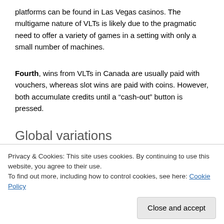platforms can be found in Las Vegas casinos. The multigame nature of VLTs is likely due to the pragmatic need to offer a variety of games in a setting with only a small number of machines.
Fourth, wins from VLTs in Canada are usually paid with vouchers, whereas slot wins are paid with coins. However, both accumulate credits until a “cash-out” button is pressed.
Global variations
Privacy & Cookies: This site uses cookies. By continuing to use this website, you agree to their use.
To find out more, including how to control cookies, see here: Cookie Policy
are required by law to pay out a minimum percentage